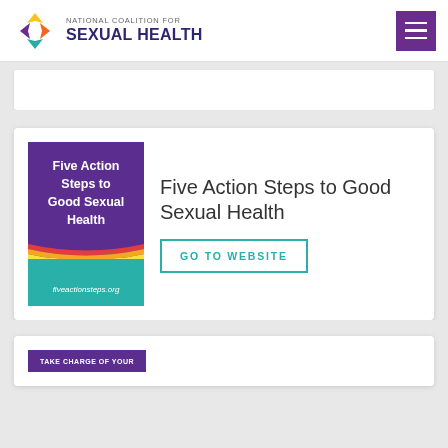[Figure (logo): National Coalition for Sexual Health logo with colorful icon and text]
[Figure (illustration): Purple hamburger menu button in top right corner]
[Figure (illustration): Book cover: Five Action Steps to Good Sexual Health, fiveactionsteps.org]
Five Action Steps to Good Sexual Health
GO TO WEBSITE
[Figure (illustration): Partial view of another card with purple bar reading TAKE CHARGE OF YOUR]